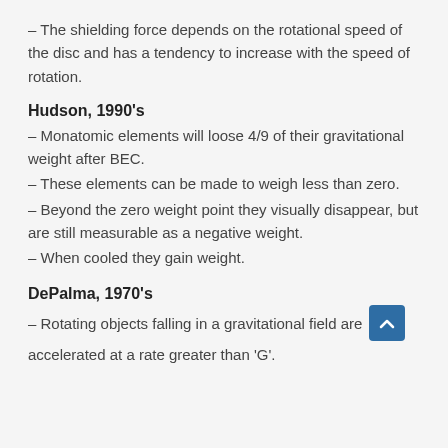– The shielding force depends on the rotational speed of the disc and has a tendency to increase with the speed of rotation.
Hudson, 1990's
– Monatomic elements will loose 4/9 of their gravitational weight after BEC.
– These elements can be made to weigh less than zero.
– Beyond the zero weight point they visually disappear, but are still measurable as a negative weight.
– When cooled they gain weight.
DePalma, 1970's
– Rotating objects falling in a gravitational field are accelerated at a rate greater than 'G'.